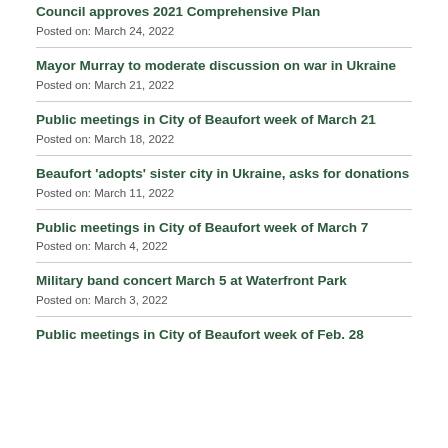Council approves 2021 Comprehensive Plan
Posted on: March 24, 2022
Mayor Murray to moderate discussion on war in Ukraine
Posted on: March 21, 2022
Public meetings in City of Beaufort week of March 21
Posted on: March 18, 2022
Beaufort 'adopts' sister city in Ukraine, asks for donations
Posted on: March 11, 2022
Public meetings in City of Beaufort week of March 7
Posted on: March 4, 2022
Military band concert March 5 at Waterfront Park
Posted on: March 3, 2022
Public meetings in City of Beaufort week of Feb. 28